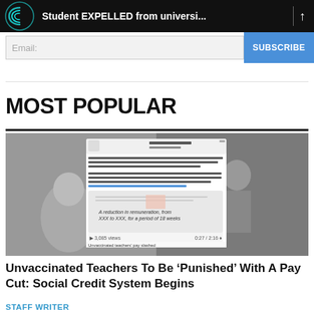Student EXPELLED from universi...
Email:
SUBSCRIBE
MOST POPULAR
[Figure (photo): Black and white photo of classroom with children and teachers, overlaid with a social media post about Queensland teachers having pay cut for not being vaccinated, showing a document with text 'A reduction in remuneration, from XXX to XXX, for a period of 18 weeks']
Unvaccinated Teachers To Be ‘Punished’ With A Pay Cut: Social Credit System Begins
STAFF WRITER